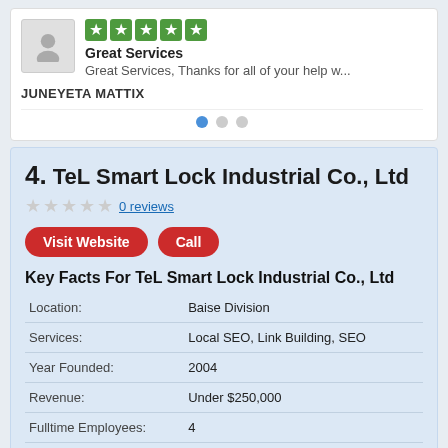Great Services — 5 stars — Great Services, Thanks for all of your help w... — JUNEYETA MATTIX
4. TeL Smart Lock Industrial Co., Ltd
0 reviews
Visit Website | Call
Key Facts For TeL Smart Lock Industrial Co., Ltd
| Field | Value |
| --- | --- |
| Location: | Baise Division |
| Services: | Local SEO, Link Building, SEO |
| Year Founded: | 2004 |
| Revenue: | Under $250,000 |
| Fulltime Employees: | 4 |